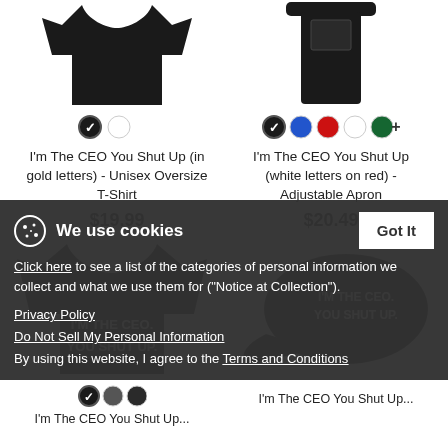[Figure (photo): Black unisex oversize t-shirt product image (top cropped)]
I'm The CEO You Shut Up (in gold letters) - Unisex Oversize T-Shirt
$19.99
[Figure (photo): Black adjustable apron product image (top cropped)]
I'm The CEO You Shut Up (white letters on red) - Adjustable Apron
$20.49
[Figure (photo): Black t-shirt with white text I'M THE CEO. YOU SHUT UP.]
[Figure (photo): Black cap with white text I'M THE CEO. YOU SHUT UP.]
We use cookies
Got It
Click here to see a list of the categories of personal information we collect and what we use them for ("Notice at Collection").
Privacy Policy
Do Not Sell My Personal Information
By using this website, I agree to the Terms and Conditions
I'm The CEO You Shut Up...
I'm The CEO You Shut Up...